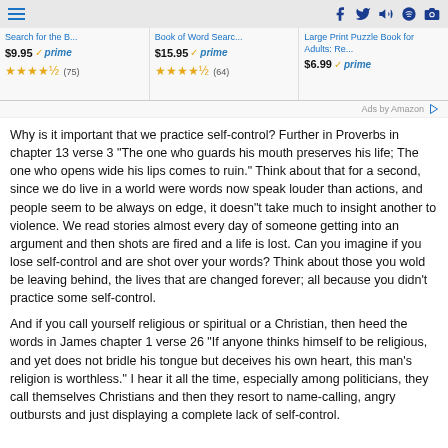Menu | Social icons (Facebook, Twitter, Speaker, Spotify, Instagram)
[Figure (screenshot): Amazon ads banner showing three products: 'Search for the B...' at $9.95 prime with 4.5 stars (75 reviews), 'Book of Word Searc...' at $15.95 prime with 4.5 stars (64 reviews), 'Large Print Puzzle Book for Adults: Re...' at $6.99 prime]
Ads by Amazon
Why is it important that we practice self-control? Further in Proverbs in chapter 13 verse 3 “The one who guards his mouth preserves his life; The one who opens wide his lips comes to ruin.” Think about that for a second, since we do live in a world were words now speak louder than actions, and people seem to be always on edge, it doesn”t take much to insight another to violence. We read stories almost every day of someone getting into an argument and then shots are fired and a life is lost. Can you imagine if you lose self-control and are shot over your words? Think about those you wold be leaving behind, the lives that are changed forever; all because you didn’t practice some self-control.
And if you call yourself religious or spiritual or a Christian, then heed the words in James chapter 1 verse 26 “If anyone thinks himself to be religious, and yet does not bridle his tongue but deceives his own heart, this man’s religion is worthless.” I hear it all the time, especially among politicians, they call themselves Christians and then they resort to name-calling, angry outbursts and just displaying a complete lack of self-control.